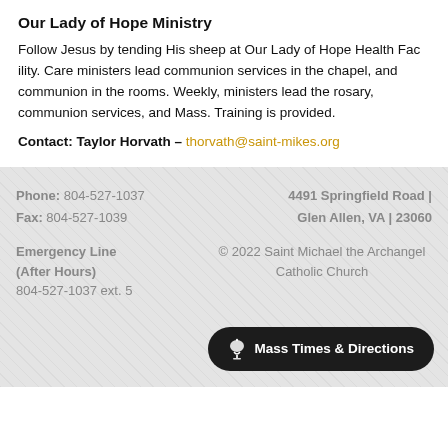Our Lady of Hope Ministry
Follow Jesus by tending His sheep at Our Lady of Hope Health Facility. Care ministers lead communion services in the chapel, and communion in the rooms. Weekly, ministers lead the rosary, communion services, and Mass. Training is provided.
Contact: Taylor Horvath – thorvath@saint-mikes.org
Phone: 804-527-1037
Fax: 804-527-1039
4491 Springfield Road | Glen Allen, VA | 23060
Emergency Line (After Hours)
804-527-1037 ext. 5
© 2022 Saint Michael the Archangel Catholic Church